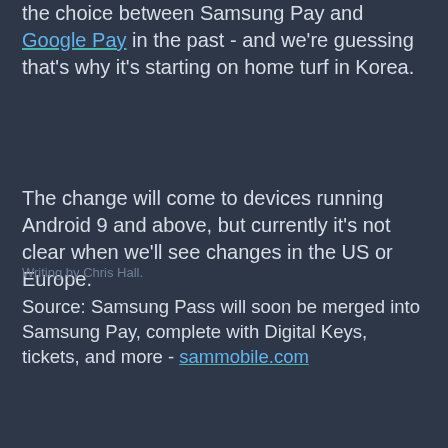the choice between Samsung Pay and Google Pay in the past - and we're guessing that's why it's starting on home turf in Korea.
The change will come to devices running Android 9 and above, but currently it's not clear when we'll see changes in the US or Europe.
[Figure (screenshot): Article card for 'Best smartphone 2... the top mobile pho...' by Chris Hall, 20 June 202..., with thumbnail showing stacked phones on teal background. Overlapping video player showing a hand holding a phone with a lock screen, music notes, and a play button.]
Writing by Chris Hall.
Source: Samsung Pass will soon be merged into Samsung Pay, complete with Digital Keys, tickets, and more - sammobile.com